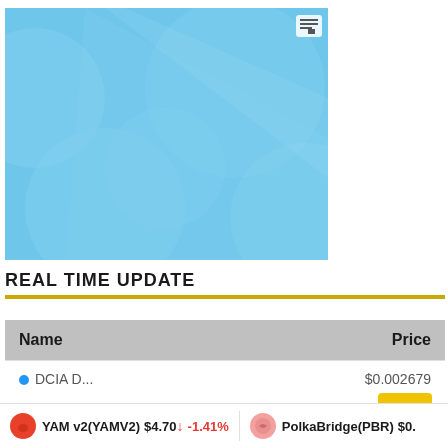[Figure (illustration): Light blue decorative background image with circular and curved shapes in slightly darker blue tones, with a small table/chart icon in the top-right corner.]
REAL TIME UPDATE
| Name | Price |
| --- | --- |
| DCIA D... | $0.002679 |
YAM v2(YAMV2) $4.70 ↓ -1.41%   PolkaBridge(PBR) $0.